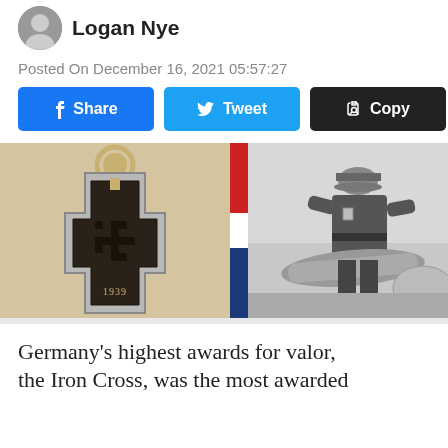[Figure (photo): Author avatar photo, circular crop, showing a person in dark clothing]
Logan Nye
Posted On December 16, 2021 05:57:27
[Figure (infographic): Social sharing buttons row: Facebook Share (blue), Twitter Tweet (light blue), Copy (black), RP icon button (blue circle)]
[Figure (photo): Left half: color photo of an Iron Cross medal from 1939 with swastika emblem. Right half: black and white photo of a German WWII soldier in uniform seated on what appears to be a cannon or military vehicle. Separated by a red-white-blue vertical stripe divider.]
Germany's highest awards for valor, the Iron Cross, was the most awarded